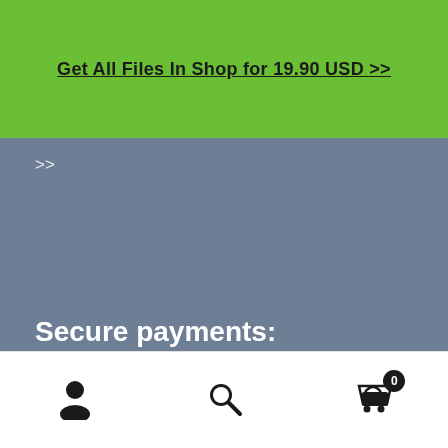Get All Files In Shop for 19.90 USD >>
X
>>
Secure payments:
We accept secure payment card payments through:
[Figure (infographic): Bottom navigation bar with three icons: user/account icon, search magnifying glass icon, and shopping cart icon with badge showing 0]